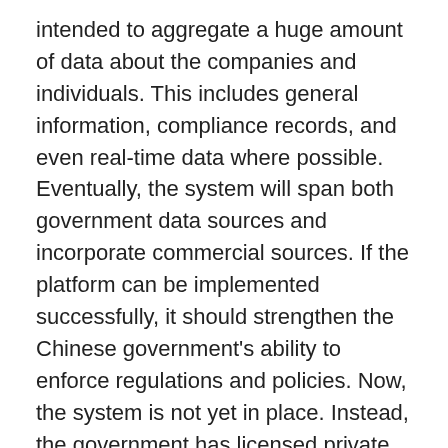intended to aggregate a huge amount of data about the companies and individuals. This includes general information, compliance records, and even real-time data where possible. Eventually, the system will span both government data sources and incorporate commercial sources. If the platform can be implemented successfully, it should strengthen the Chinese government's ability to enforce regulations and policies. Now, the system is not yet in place. Instead, the government has licensed private companies and some municipal governments to build their own social credit systems as pilot programs. One of the higher profile projects is Alibaba's Sesame Credit.
As individual consumers in the United States, many of us are used to having personal credit scores. With the Social Credit System, however, it looks to be much more comprehensive. One key difference is that the scope of